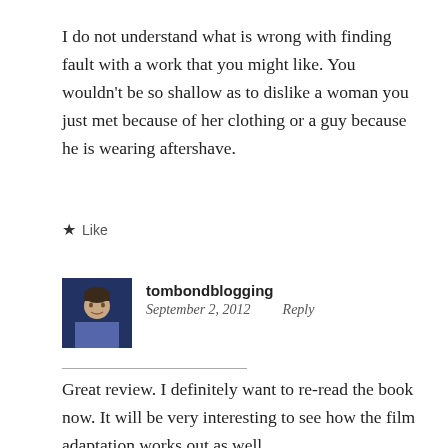I do not understand what is wrong with finding fault with a work that you might like. You wouldn't be so shallow as to dislike a woman you just met because of her clothing or a guy because he is wearing aftershave.
★ Like
tombondblogging
September 2, 2012    Reply
Great review. I definitely want to re-read the book now. It will be very interesting to see how the film adaptation works out as well.